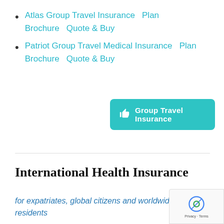Atlas Group Travel Insurance   Plan Brochure   Quote & Buy
Patriot Group Travel Medical Insurance   Plan Brochure   Quote & Buy
[Figure (other): Teal button with thumbs-up icon labeled 'Group Travel Insurance']
International Health Insurance
for expatriates, global citizens and worldwide residents